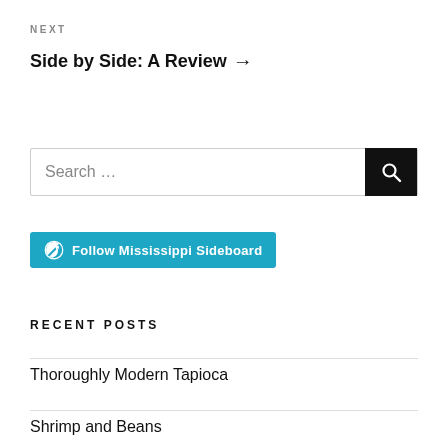NEXT
Side by Side: A Review →
Search …
[Figure (other): Follow Mississippi Sideboard button with WordPress logo]
RECENT POSTS
Thoroughly Modern Tapioca
Shrimp and Beans